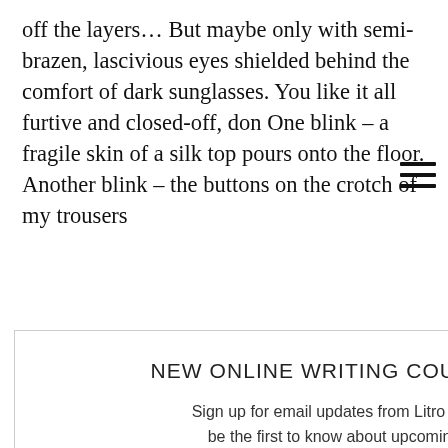off the layers… But maybe only with semi-brazen, lascivious eyes shielded behind the comfort of dark sunglasses. You like it all furtive and closed-off, don One blink – a fragile skin of a silk top pours onto the floor. Another blink – the buttons on the crotch of my trousers
npagne corks Is that how it pse of a bra o sculpt the rest and hands ora, balconette, about French s. That's
NEW ONLINE WRITING COURSES
Sign up for email updates from Litro and be the first to know about upcoming Masterclass courses
Start Now   Not now
Your secretive fantasy does nothing to excite me. This is